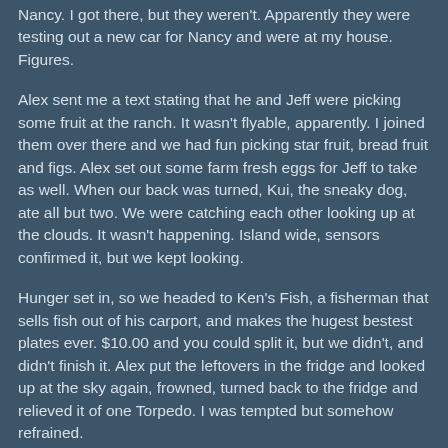Nancy. I got there, but they weren't. Apparently they were testing out a new car for Nancy and were at my house. Figures.
Alex sent me a text stating that he and Jeff were picking some fruit at the ranch. It wasn't flyable, apparently. I joined them over there and we had fun picking star fruit, bread fruit and figs. Alex set out some farm fresh eggs for Jeff to take as well. When our back was turned, Kui, the sneaky dog, ate all but two. We were catching each other looking up at the clouds. It wasn't happening. Island wide, sensors confirmed it, but we kept looking.
Hunger set in, so we headed to Ken's Fish, a fisherman that sells fish out of his carport, and makes the hugest bestest plates ever. $10.00 and you could split it, but we didn't, and didn't finish it. Alex put the leftovers in the fridge and looked up at the sky again, frowned, turned back to the fridge and relieved it of one Torpedo. I was tempted but somehow refrained.
We walked through the woods inspecting the acreage